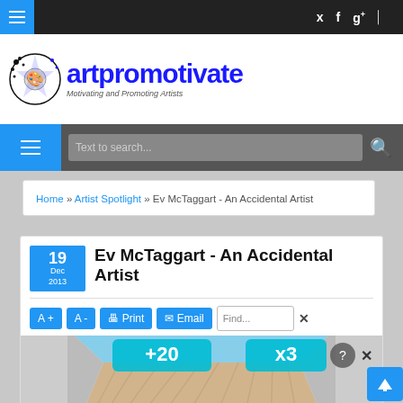artpromotivate - Motivating and Promoting Artists
[Figure (screenshot): Navigation bar with hamburger menu and social icons (Twitter, Facebook, Google+, RSS)]
[Figure (logo): Artpromotivate logo with ink splatter graphic and text 'artpromotivate - Motivating and Promoting Artists']
[Figure (screenshot): Search bar with hamburger menu and text input 'Text to search...']
Home » Artist Spotlight » Ev McTaggart - An Accidental Artist
Ev McTaggart - An Accidental Artist
19 Dec 2013
[Figure (screenshot): Toolbar with A+, A-, Print, Email buttons and Find input field. Below: bowling lane illustration with +20 and x3 overlays.]